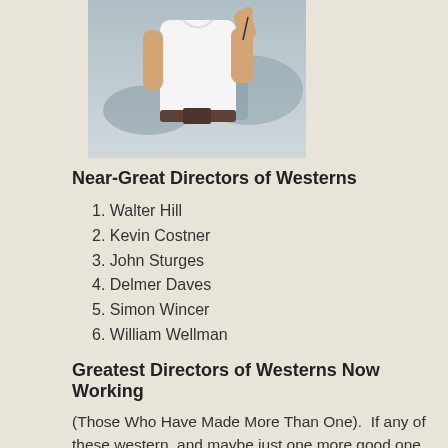[Figure (photo): Partial photograph of a person in a white t-shirt, cropped at the top of the page]
Near-Great Directors of Westerns
1. Walter Hill
2. Kevin Costner
3. John Sturges
4. Delmer Daves
5. Simon Wincer
6. William Wellman
Greatest Directors of Westerns Now Working
(Those Who Have Made More Than One).  If any of these western, and maybe just one more good one, they'd vault directors.  Eastwood's last western was Unforgiven, more he's now in his 80s.  Walter Hill is getting up there, too.  B each come up with something, although Costner doesn't c